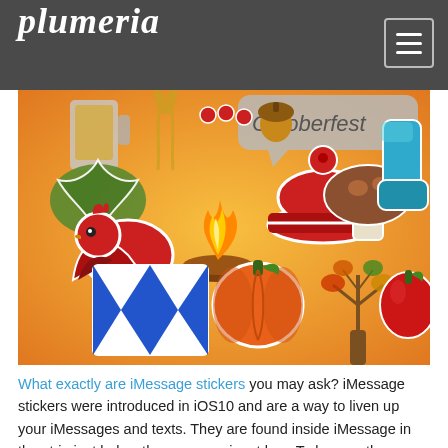plumeria
[Figure (illustration): Colorful autumn/Oktoberfest iMessage sticker illustration showing a cardinal bird, campfire, pumpkin, leaf, acorn, mushroom, rain boot, apple, tree, and other fall themed sticker icons on an orange background with an Oktoberfest speech bubble.]
What exactly are iMessage stickers you may ask? iMessage stickers were introduced in iOS10 and are a way to liven up your iMessages and texts. They are found inside iMessage in the strip just below the message input box. To browse the app store to find new stickers to add, click the App